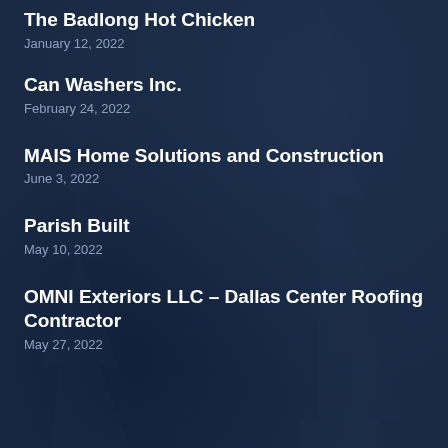The Badlong Hot Chicken
January 12, 2022
Can Washers Inc.
February 24, 2022
MAIS Home Solutions and Construction
June 3, 2022
Parish Built
May 10, 2022
OMNI Exteriors LLC – Dallas Center Roofing Contractor
May 27, 2022